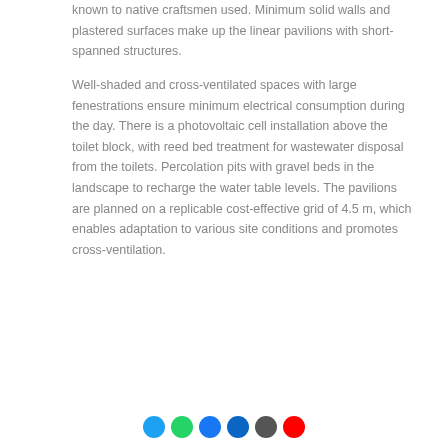known to native craftsmen used. Minimum solid walls and plastered surfaces make up the linear pavilions with short-spanned structures.
Well-shaded and cross-ventilated spaces with large fenestrations ensure minimum electrical consumption during the day. There is a photovoltaic cell installation above the toilet block, with reed bed treatment for wastewater disposal from the toilets. Percolation pits with gravel beds in the landscape to recharge the water table levels. The pavilions are planned on a replicable cost-effective grid of 4.5 m, which enables adaptation to various site conditions and promotes cross-ventilation.
[Figure (other): Row of colored social media / sharing icon circles at the bottom of the page]